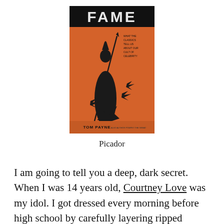[Figure (illustration): Book cover of 'FAME: What the Classics Tell Us About Our Cult of Celebrity' by Tom Payne. Black title 'FAME' on black background at top, orange background with black figure of Athena holding spear, black star shapes, and subtitle text on the right side. Author name 'TOM PAYNE' at bottom.]
Picador
I am going to tell you a deep, dark secret. When I was 14 years old, Courtney Love was my idol. I got dressed every morning before high school by carefully layering ripped fishnets over purple tights